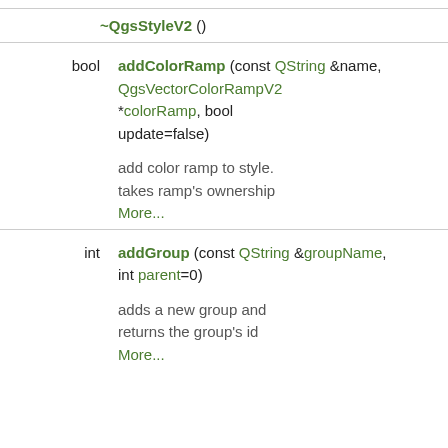~QgsStyleV2 ()
bool addColorRamp (const QString &name, QgsVectorColorRampV2 *colorRamp, bool update=false)
add color ramp to style. takes ramp's ownership More...
int addGroup (const QString &groupName, int parent=0)
adds a new group and returns the group's id More...